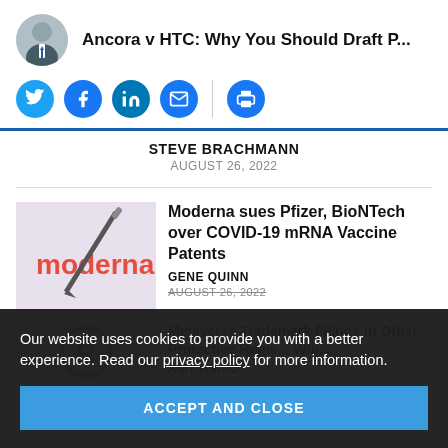Ancora v HTC: Why You Should Draft P...
[Figure (photo): Circular avatar photo of a man in a suit]
[Figure (infographic): Social share buttons: Twitter, Facebook, LinkedIn, Email, Print]
STEVE BRACHMANN
AUGUST 26, 2022
[Figure (photo): Moderna syringe and logo thumbnail image]
Moderna sues Pfizer, BioNTech over COVID-19 mRNA Vaccine Patents
GENE QUINN
AUGUST 26, 2022
[Figure (photo): Registered trademark symbol thumbnail image]
Metaverse Trademark Filings in Other Protective Regis... Whi... e
AMY HSIAO
Our website uses cookies to provide you with a better experience. Read our privacy policy for more information.
ACCEPT AND CLOSE